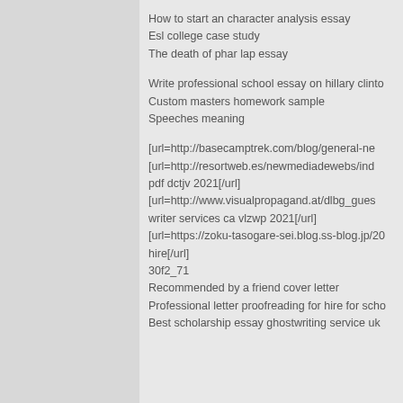How to start an character analysis essay
Esl college case study
The death of phar lap essay
Write professional school essay on hillary clinton
Custom masters homework sample
Speeches meaning
[url=http://basecamptrek.com/blog/general-ne
[url=http://resortweb.es/newmediadewebs/ind
pdf dctjv 2021[/url]
[url=http://www.visualpropagand.at/dlbg_gues
writer services ca vlzwp 2021[/url]
[url=https://zoku-tasogare-sei.blog.ss-blog.jp/20
hire[/url]
30f2_71
Recommended by a friend cover letter
Professional letter proofreading for hire for scho
Best scholarship essay ghostwriting service uk